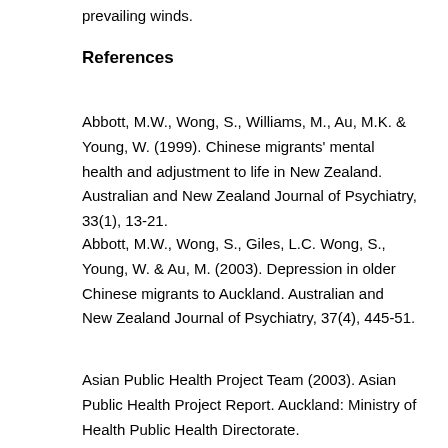prevailing winds.
References
Abbott, M.W., Wong, S., Williams, M., Au, M.K. & Young, W. (1999). Chinese migrants' mental health and adjustment to life in New Zealand. Australian and New Zealand Journal of Psychiatry, 33(1), 13-21.
Abbott, M.W., Wong, S., Giles, L.C. Wong, S., Young, W. & Au, M. (2003). Depression in older Chinese migrants to Auckland. Australian and New Zealand Journal of Psychiatry, 37(4), 445-51.
Asian Public Health Project Team (2003). Asian Public Health Project Report. Auckland: Ministry of Health Public Health Directorate.